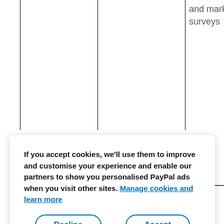|  |  |  | and marketing surveys |
If you accept cookies, we'll use them to improve and customise your experience and enable our partners to show you personalised PayPal ads when you visit other sites. Manage cookies and learn more
Decline
Accept